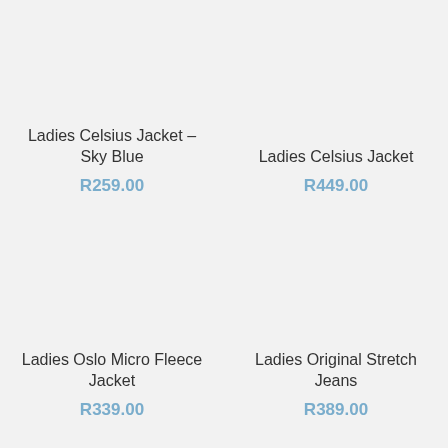Ladies Celsius Jacket – Sky Blue
R259.00
Ladies Celsius Jacket
R449.00
Ladies Oslo Micro Fleece Jacket
R339.00
Ladies Original Stretch Jeans
R389.00